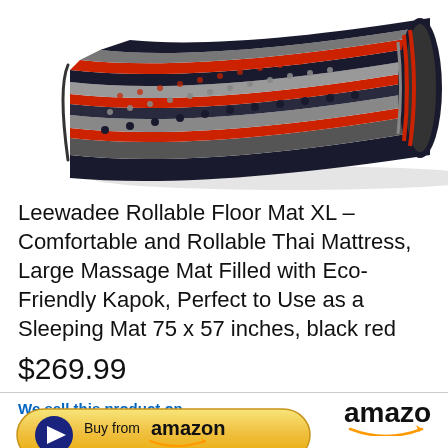[Figure (photo): A rolled-up floor mat with black, red, and grey woven pattern. The mat is partially rolled at the right end, showing its thickness. Displayed on a white background.]
Leewadee Rollable Floor Mat XL – Comfortable and Rollable Thai Mattress, Large Massage Mat Filled with Eco-Friendly Kapok, Perfect to Use as a Sleeping Mat 75 x 57 inches, black red
$269.99
We sell this product on Amazon.com
[Figure (logo): Amazon logo with smile]
[Figure (other): Buy from Amazon button with play icon]